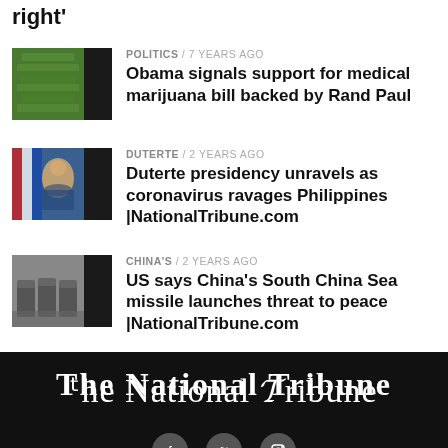right'
[Figure (photo): Green crop field aerial view thumbnail]
POLITICS / 7 years ago
Obama signals support for medical marijuana bill backed by Rand Paul
[Figure (photo): Duterte at podium with Philippine flag thumbnail]
DUTERTE / 2 years ago
Duterte presidency unravels as coronavirus ravages Philippines |NationalTribune.com
[Figure (photo): Military vehicles parked in row thumbnail]
CHINA'S / 2 years ago
US says China's South China Sea missile launches threat to peace |NationalTribune.com
The National Tribune